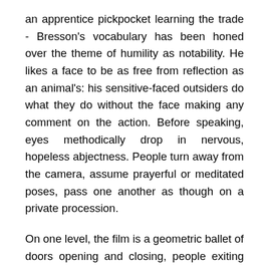an apprentice pickpocket learning the trade - Bresson's vocabulary has been honed over the theme of humility as notability. He likes a face to be as free from reflection as an animal's: his sensitive-faced outsiders do what they do without the face making any comment on the action. Before speaking, eyes methodically drop in nervous, hopeless abjectness. People turn away from the camera, assume prayerful or meditated poses, pass one another as though on a private procession.
On one level, the film is a geometric ballet of doors opening and closing, people exiting and entering, husband or wife turning down the bed covers, of objects or people moving into and out of the stationary camera, a young wife's dazzlingly white fresh face against the sharp, crotchety profile of her